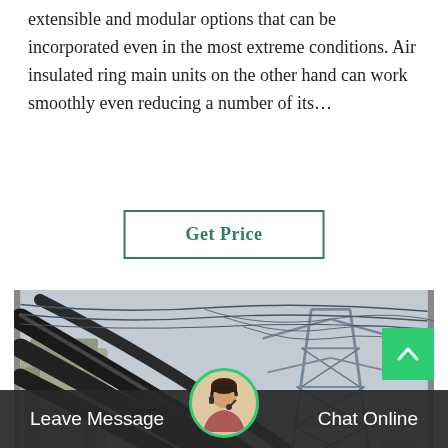…extensible and modular options that can be incorporated even in the most extreme conditions. Air insulated ring main units on the other hand can work smoothly even reducing a number of its…
Get Price
[Figure (photo): Outdoor electrical substation scene with large industrial transformer equipment, thick cable conduits extending diagonally, a yellow truck in the foreground, and a large steel lattice power transmission tower in the background with overhead lines, under an overcast sky.]
Leave Message   Chat Online